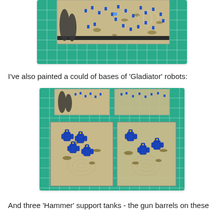[Figure (photo): Top-down photo of blue miniature soldiers on a sandy gaming board with tufts of grass and pine tree terrain pieces, placed on a green cutting mat with white grid lines.]
I've also painted a could of bases of 'Gladiator' robots:
[Figure (photo): Photo of blue 'Gladiator' robot miniatures on sandy square bases with grass tufts and swirl patterns, sitting on a green cutting mat. Two square bases visible in the foreground with three or four robots each, and additional bases with infantry in the background.]
And three 'Hammer' support tanks - the gun barrels on these